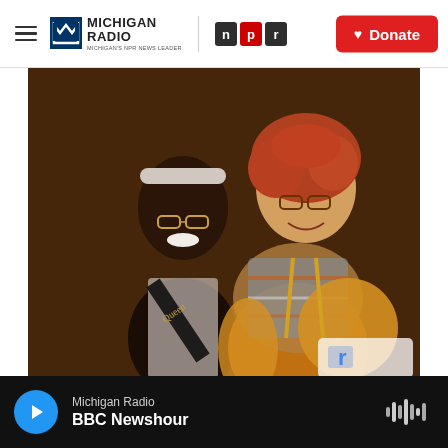Michigan Radio | NPR | Donate
[Figure (photo): Two women posing together smiling. The woman on the left is a young Black woman wearing a white sleeveless top and a black sash reading 'Queen', with a white headband and glasses. The woman on the right is an older white woman with short curly reddish-blonde hair, wearing glasses, a colorful patterned top and a yellow/mustard hoodie. They are posing together with arms around each other against a dark background.]
Michigan Radio — BBC Newshour